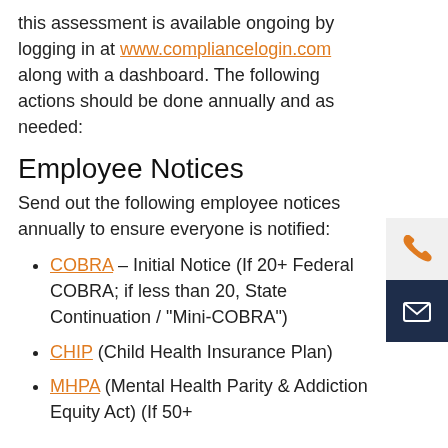this assessment is available ongoing by logging in at www.compliancelogin.com along with a dashboard. The following actions should be done annually and as needed:
Employee Notices
Send out the following employee notices annually to ensure everyone is notified:
COBRA – Initial Notice (If 20+ Federal COBRA; if less than 20, State Continuation / “Mini-COBRA”)
CHIP (Child Health Insurance Plan)
MHPA (Mental Health Parity & Addiction Equity Act) (If 50+